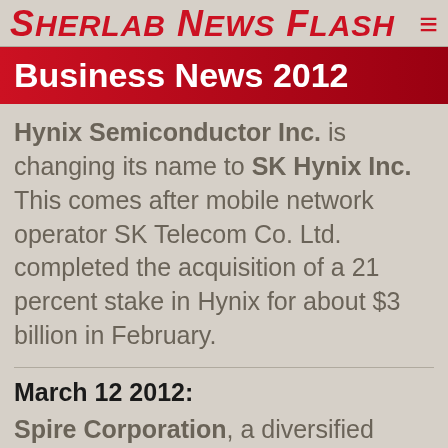Sherlab News Flash ≡
Business News 2012
Hynix Semiconductor Inc. is changing its name to SK Hynix Inc. This comes after mobile network operator SK Telecom Co. Ltd. completed the acquisition of a 21 percent stake in Hynix for about $3 billion in February.
March 12 2012:
Spire Corporation, a diversified